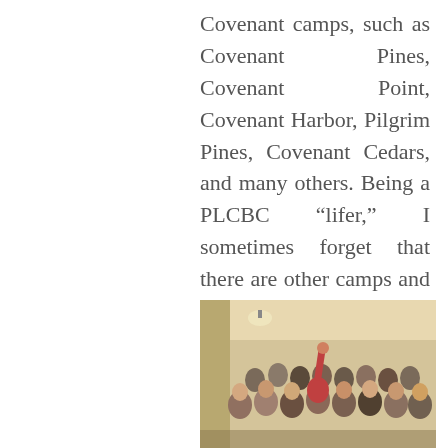Covenant camps, such as Covenant Pines, Covenant Point, Covenant Harbor, Pilgrim Pines, Covenant Cedars, and many others. Being a PLCBC “lifer,” I sometimes forget that there are other camps and organizations around the country and around the world that also impact every life for Christ.
[Figure (photo): A group photo of many people gathered together indoors, one person with arm raised, warm yellowish lighting.]